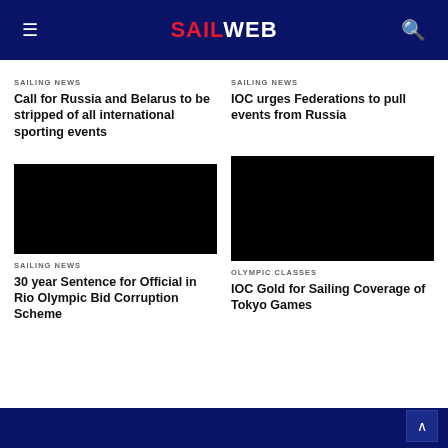SAILWEB
SAILING NEWS
Call for Russia and Belarus to be stripped of all international sporting events
SAILING NEWS
IOC urges Federations to pull events from Russia
[Figure (photo): Black image placeholder for article]
SAILING NEWS
30 year Sentence for Official in Rio Olympic Bid Corruption Scheme
[Figure (photo): Black image placeholder for article]
OLYMPIC CLASSES
IOC Gold for Sailing Coverage of Tokyo Games